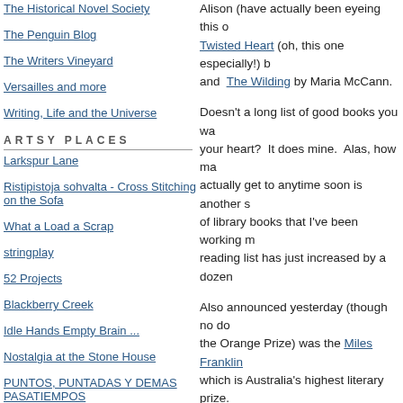The Historical Novel Society
The Penguin Blog
The Writers Vineyard
Versailles and more
Writing, Life and the Universe
ARTSY PLACES
Larkspur Lane
Ristipistoja sohvalta - Cross Stitching on the Sofa
What a Load a Scrap
stringplay
52 Projects
Blackberry Creek
Idle Hands Empty Brain ...
Nostalgia at the Stone House
PUNTOS, PUNTADAS Y DEMAS PASATIEMPOS
Tatterededge
Alison (have actually been eyeing this one), Twisted Heart (oh, this one especially!) b and The Wilding by Maria McCann.
Doesn't a long list of good books you wa your heart? It does mine. Alas, how ma actually get to anytime soon is another s of library books that I've been working m reading list has just increased by a dozen
Also announced yesterday (though no do the Orange Prize) was the Miles Franklin which is Australia's highest literary prize. Amazon, though it appears that only a ha published over here. I was gratified to se also a thriller!
And a sure sign that spring is really on th Carl's Once Upon a Time reading challe seriously full at the moment, but I would one book. I was thinking I could pick up Glass Feet again and read it in earnest f too long ago. I had planned to read alon group, but I seem to have fallen behind i well, there will be other opportunities.